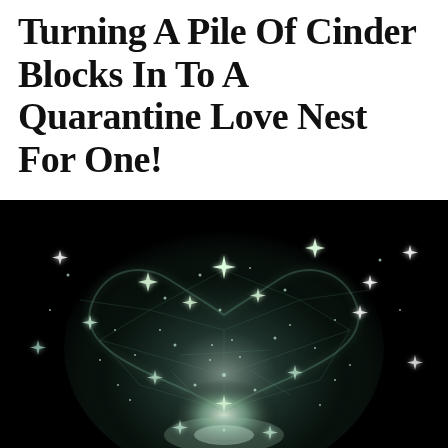Turning A Pile Of Cinder Blocks In To A Quarantine Love Nest For One!
[Figure (photo): Dark artistic photo showing a glowing, sparkling heart shape made of white and teal light particles and star-shaped sparkles against a black background, resembling a constellation or fireworks in a heart formation.]